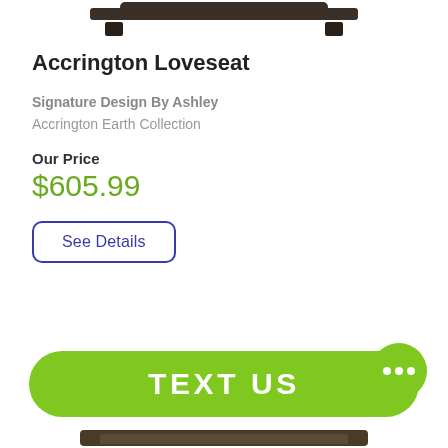[Figure (photo): Top portion of a loveseat furniture item, showing dark brown upholstered top rail and armrests cropped at the top of the page]
Accrington Loveseat
Signature Design By Ashley
Accrington Earth Collection
Our Price
$605.99
See Details
[Figure (infographic): Green rounded rectangle button with white text reading TEXT US, with a green speech bubble chat icon on the right side containing three dots]